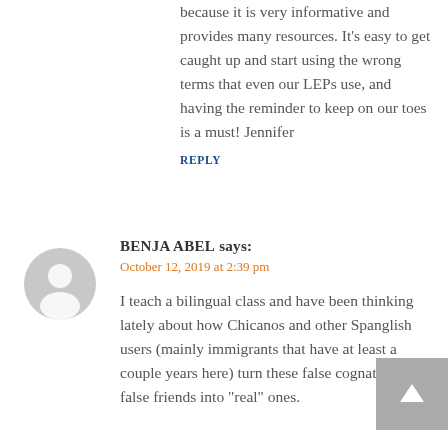because it is very informative and provides many resources. It's easy to get caught up and start using the wrong terms that even our LEPs use, and having the reminder to keep on our toes is a must! Jennifer
REPLY
[Figure (illustration): Generic user avatar: grey circle with white silhouette of a person]
BENJA ABEL says:
October 12, 2019 at 2:39 pm
I teach a bilingual class and have been thinking lately about how Chicanos and other Spanglish users (mainly immigrants that have at least a couple years here) turn these false cognates and false friends into "real" ones.